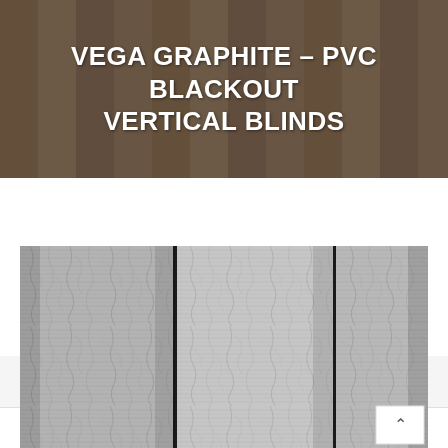VEGA GRAPHITE – PVC BLACKOUT VERTICAL BLINDS
Home > VEGA GRAPHITE – PVC BLACKOUT VERTICAL BLINDS
[Figure (photo): Close-up photograph of gray PVC blackout vertical blinds with a crackled texture pattern, showing three overlapping slat panels]